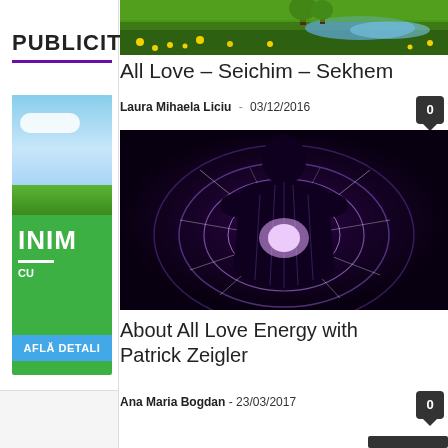PUBLICITA
[Figure (illustration): Green advertisement banner with sky, grass, large white text 'INIM', dashes, small text 'CU', and a blue 'AFLA DETALI' button]
[Figure (photo): Nature photo showing green grass and yellow flowers with a stream and trees]
All Love – Seichim – Sekhem
Laura Mihaela Liciu  -  03/12/2016
[Figure (photo): Dark silhouette of a person with glowing energy/light emanating from their chest area, with circular rings around them on a dark purple background]
About All Love Energy with Patrick Zeigler
Ana Maria Bogdan  -  23/03/2017